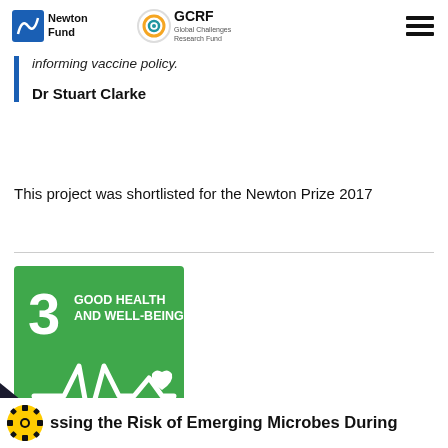Newton Fund | GCRF Global Challenges Research Fund
informing vaccine policy.
Dr Stuart Clarke
This project was shortlisted for the Newton Prize 2017
[Figure (logo): SDG Goal 3 Good Health and Well-Being badge — green square with white heartbeat/pulse line and heart icon, number 3 in top left]
ssing the Risk of Emerging Microbes During